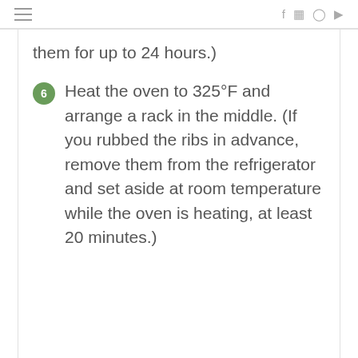them for up to 24 hours.)
6 Heat the oven to 325°F and arrange a rack in the middle. (If you rubbed the ribs in advance, remove them from the refrigerator and set aside at room temperature while the oven is heating, at least 20 minutes.)